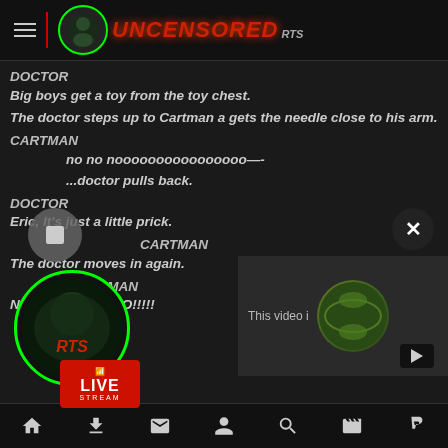[Figure (screenshot): Uncensored RTS website header with hamburger menu, logo circle, and red stylized text logo]
DOCTOR
Big boys get a toy from the toy chest.
The doctor steps up to Cartman a gets the needle close to his arm.
CARTMAN
N... no no noooooooooooooooo-—
...doctor pulls back.
DOCTOR
Eric, It's just a little prick.
CARTMAN
The doctor moves in again.
CARTMAN
No no no noooooO!!!!!
[Figure (screenshot): Video panel partially visible showing 'This video i...' text and a thumbnail of a flat Earth globe image with YouTube icon]
[Figure (logo): RTS circular logo with green border and red RTS text]
[Figure (infographic): Red LIVE STREAM badge with WiFi/signal icon]
Navigation bar: home, upload, mail, profile, search, video, PayPal icons